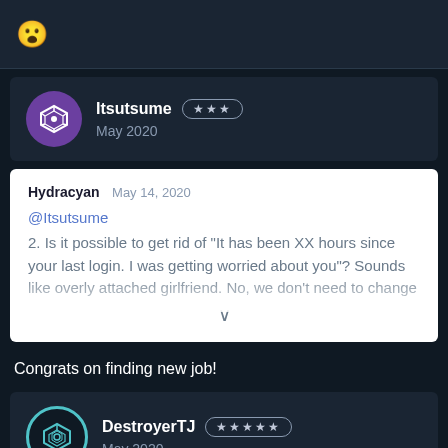[Figure (screenshot): Shocked face emoji on dark background top bar]
Itsutsume ★★★ May 2020
Hydracyan May 14, 2020
@Itsutsume
2. Is it possible to get rid of "It has been XX hours since your last login. I was getting worried about you"? Sounds like overly attached girlfriend. No, we don't need to change...
Congrats on finding new job!
DestroyerTJ ★★★★★ May 2020
2,472 🙂🙂🙂🙂🙂